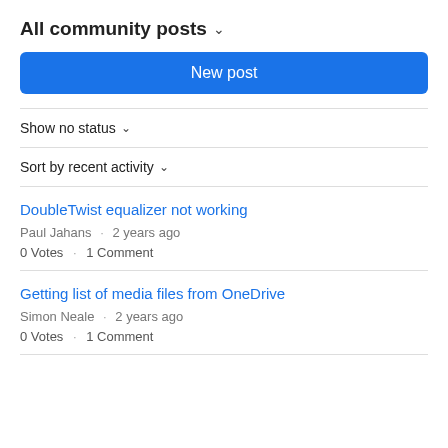All community posts
New post
Show no status
Sort by recent activity
DoubleTwist equalizer not working
Paul Jahans · 2 years ago
0 Votes · 1 Comment
Getting list of media files from OneDrive
Simon Neale · 2 years ago
0 Votes · 1 Comment